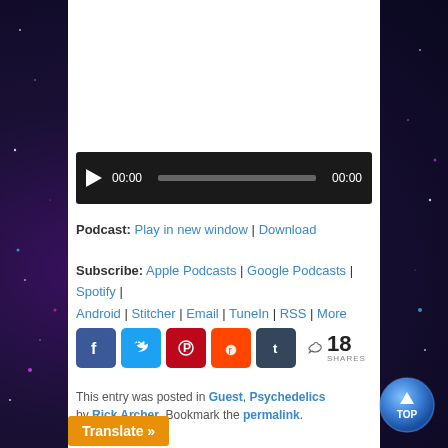[Figure (other): Audio player with play button, timecode 00:00, progress bar, and end time 00:00 on black background]
Podcast: Play in new window | Download
Subscribe: Apple Podcasts | Google Podcasts | Spotify | Android | Stitcher | Email | TuneIn | RSS | More
[Figure (infographic): Social share buttons: Facebook, Twitter, Pinterest, Reddit, Tumblr. Share count: 18 SHARES]
This entry was posted in Guest, Psychedelics by Rick Archer. Bookmark the permalink.
[Figure (illustration): Blue circular TOP button with upward arrow]
Translate »